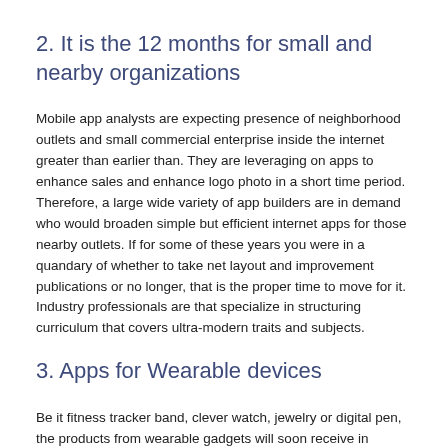2. It is the 12 months for small and nearby organizations
Mobile app analysts are expecting presence of neighborhood outlets and small commercial enterprise inside the internet greater than earlier than. They are leveraging on apps to enhance sales and enhance logo photo in a short time period. Therefore, a large wide variety of app builders are in demand who would broaden simple but efficient internet apps for those nearby outlets. If for some of these years you were in a quandary of whether to take net layout and improvement publications or no longer, that is the proper time to move for it. Industry professionals are that specialize in structuring curriculum that covers ultra-modern traits and subjects.
3. Apps for Wearable devices
Be it fitness tracker band, clever watch, jewelry or digital pen, the products from wearable gadgets will soon receive in